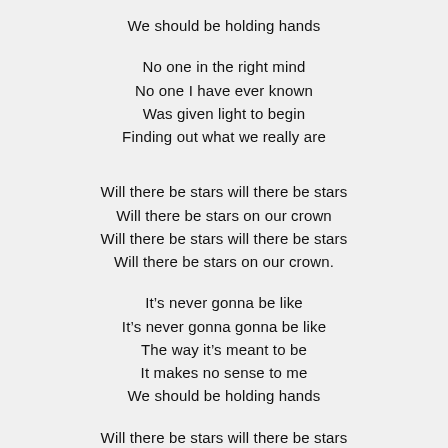We should be holding hands
No one in the right mind
No one I have ever known
Was given light to begin
Finding out what we really are
Will there be stars will there be stars
Will there be stars on our crown
Will there be stars will there be stars
Will there be stars on our crown.
It's never gonna be like
It's never gonna gonna be like
The way it's meant to be
It makes no sense to me
We should be holding hands
Will there be stars will there be stars
Will there be stars on our crown
Will there be stars will there be stars